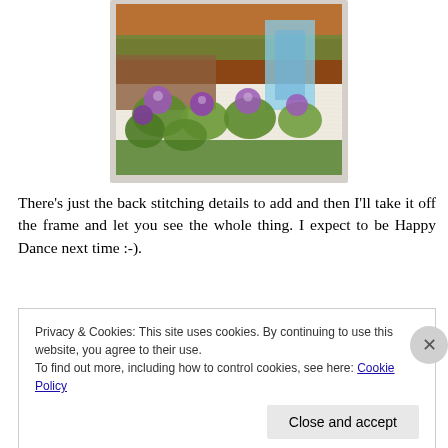[Figure (photo): Close-up of a cross-stitch embroidery featuring colorful thistles with purple blooms, green leaves, and a landscape with blue water and earth tones in the background.]
There's just the back stitching details to add and then I'll take it off the frame and let you see the whole thing. I expect to be Happy Dance next time :-).
Privacy & Cookies: This site uses cookies. By continuing to use this website, you agree to their use.
To find out more, including how to control cookies, see here: Cookie Policy